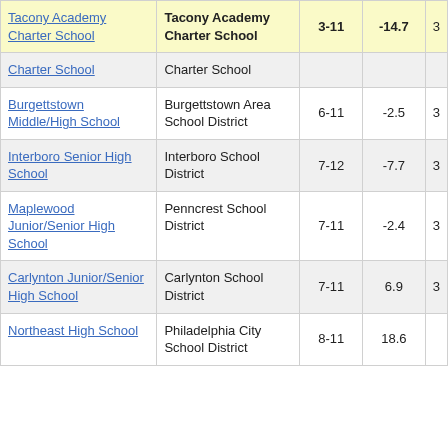| School | District | Grades | Value |  |
| --- | --- | --- | --- | --- |
| Tacony Academy Charter School | Tacony Academy Charter School | 3-11 | -14.7 | 3 |
| Charter School | Charter School |  |  |  |
| Burgettstown Middle/High School | Burgettstown Area School District | 6-11 | -2.5 | 3 |
| Interboro Senior High School | Interboro School District | 7-12 | -7.7 | 3 |
| Maplewood Junior/Senior High School | Penncrest School District | 7-11 | -2.4 | 3 |
| Carlynton Junior/Senior High School | Carlynton School District | 7-11 | 6.9 | 3 |
| Northeast High School | Philadelphia City School District | 8-11 | 18.6 |  |